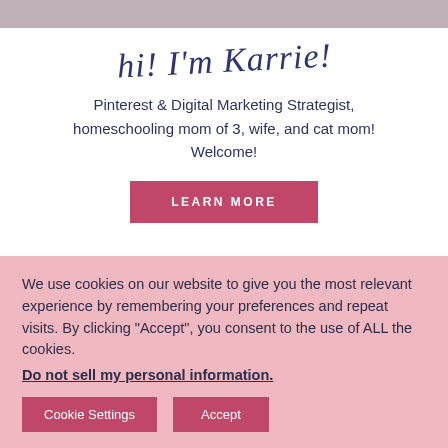[Figure (photo): Partial photo strip at top of page showing cropped image of people]
hi! I'm Karrie!
Pinterest & Digital Marketing Strategist, homeschooling mom of 3, wife, and cat mom! Welcome!
LEARN MORE
We use cookies on our website to give you the most relevant experience by remembering your preferences and repeat visits. By clicking “Accept”, you consent to the use of ALL the cookies.
Do not sell my personal information.
Cookie Settings
Accept